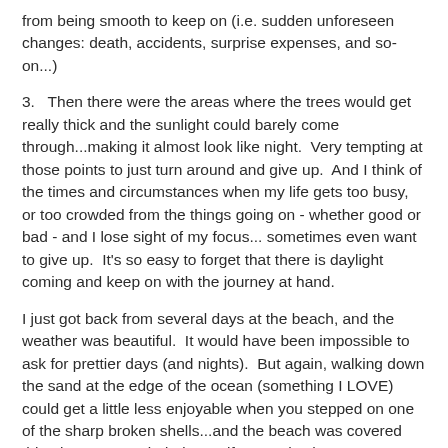from being smooth to keep on (i.e. sudden unforeseen changes: death, accidents, surprise expenses, and so-on...)
3.   Then there were the areas where the trees would get really thick and the sunlight could barely come through...making it almost look like night.  Very tempting at those points to just turn around and give up.  And I think of the times and circumstances when my life gets too busy, or too crowded from the things going on - whether good or bad - and I lose sight of my focus... sometimes even want to give up.  It's so easy to forget that there is daylight coming and keep on with the journey at hand.
I just got back from several days at the beach, and the weather was beautiful.  It would have been impossible to ask for prettier days (and nights).  But again, walking down the sand at the edge of the ocean (something I LOVE) could get a little less enjoyable when you stepped on one of the sharp broken shells...and the beach was covered this trip.  But I reminded myself to watch where I was stepping... pay attention to what was going on around me... and when I did step on one to remember that the pain wouldn't last forever.